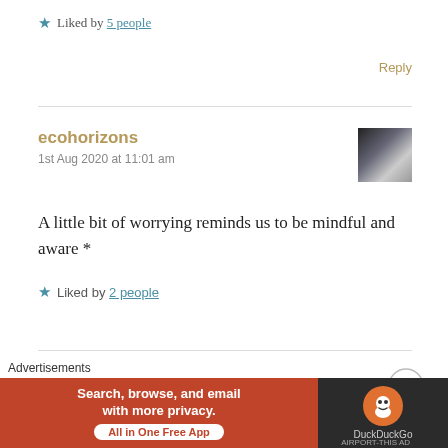★ Liked by 5 people
Reply
ecohorizons
1st Aug 2020 at 11:01 am
[Figure (photo): Small avatar thumbnail showing a dark landscape/nature photo]
A little bit of worrying reminds us to be mindful and aware *
★ Liked by 2 people
Advertisements
[Figure (screenshot): DuckDuckGo advertisement banner: 'Search, browse, and email with more privacy. All in One Free App' with DuckDuckGo logo on dark background]